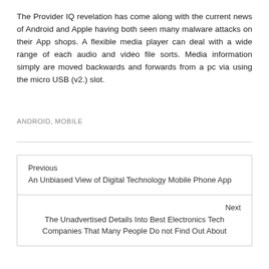The Provider IQ revelation has come along with the current news of Android and Apple having both seen many malware attacks on their App shops. A flexible media player can deal with a wide range of each audio and video file sorts. Media information simply are moved backwards and forwards from a pc via using the micro USB (v2.) slot.
ANDROID, MOBILE
Previous
An Unbiased View of Digital Technology Mobile Phone App
Next
The Unadvertised Details Into Best Electronics Tech Companies That Many People Do not Find Out About